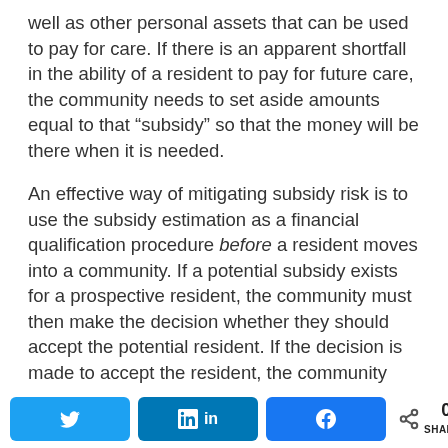well as other personal assets that can be used to pay for care. If there is an apparent shortfall in the ability of a resident to pay for future care, the community needs to set aside amounts equal to that “subsidy” so that the money will be there when it is needed.
An effective way of mitigating subsidy risk is to use the subsidy estimation as a financial qualification procedure before a resident moves into a community. If a potential subsidy exists for a prospective resident, the community must then make the decision whether they should accept the potential resident. If the decision is made to accept the resident, the community should then set aside funds to help cover anticipated future shortfalls. Many communities decide not to set aside these
Twitter | LinkedIn | Facebook | 0 SHARES